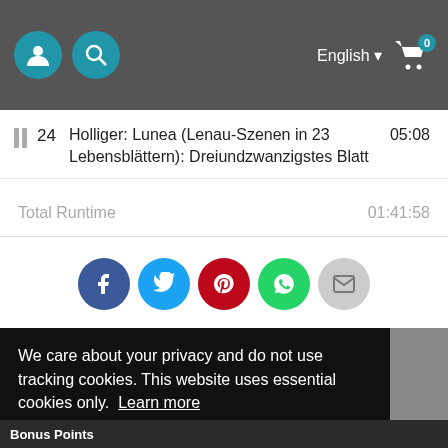English  [cart: 0]
24  Holliger: Lunea (Lenau-Szenen in 23 Lebensblättern): Dreiundzwanzigstes Blatt  05:08
Total Runtime  01:41:58
[Figure (other): Social share icons: Facebook, Twitter, Pinterest, WhatsApp, Email]
We care about your privacy and do not use tracking cookies. This website uses essential cookies only.  Learn more
OK
Bonus Points